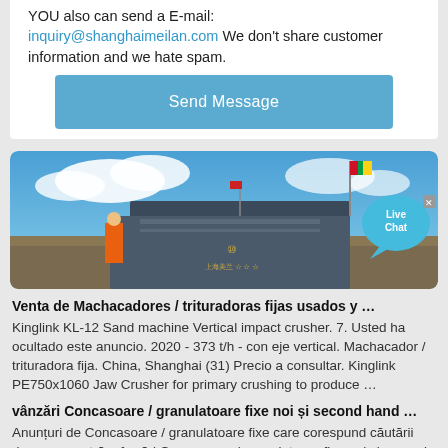YOU also can send a E-mail: inquiry@shanghaimeilan.com We don't share customer information and we hate spam.
[Figure (other): Send Message button (blue/teal rectangular button with white text)]
[Figure (photo): Photo of industrial crushing/grinding machine against a blue sky with clouds. Flags visible on top of equipment. Live Chat bubble overlay in top right corner.]
Venta de Machacadores / trituradoras fijas usados y … Kinglink KL-12 Sand machine Vertical impact crusher. 7. Usted ha ocultado este anuncio. 2020 - 373 t/h - con eje vertical. Machacador / trituradora fija. China, Shanghai (31) Precio a consultar. Kinglink PE750x1060 Jaw Crusher for primary crushing to produce …
vânzări Concasoare / granulatoare fixe noi și second hand … Anunțuri de Concasoare / granulatoare fixe care corespund căutării dumneavoastră: vânzări Concasoare / granulatoare fixe noi și second hand. Experiența dumneavoastră pe site-ul nostru constituie o prioritate. De aceea, noi utilizăm cookie-uri